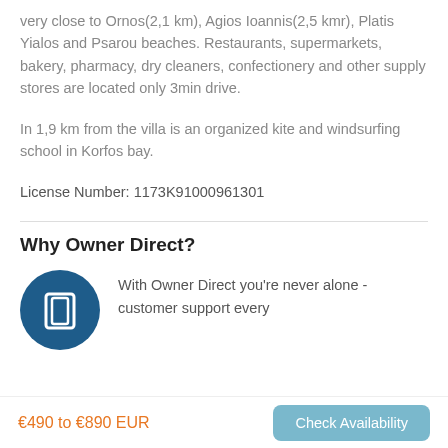very close to Ornos(2,1 km), Agios Ioannis(2,5 kmr), Platis Yialos and Psarou beaches. Restaurants, supermarkets, bakery, pharmacy, dry cleaners, confectionery and other supply stores are located only 3min drive.
In 1,9 km from the villa is an organized kite and windsurfing school in Korfos bay.
License Number: 1173K91000961301
Why Owner Direct?
[Figure (illustration): Dark blue circle icon with a door/entrance symbol in white]
With Owner Direct you're never alone - customer support every
€490 to €890 EUR
Check Availability